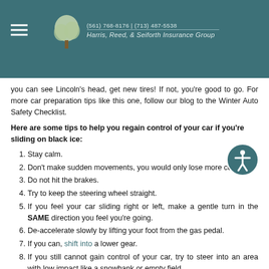(561) 768-8176 | (713) 487-5538 Harris, Reed, & Seiforth Insurance Group
you can see Lincoln's head, get new tires! If not, you're good to go. For more car preparation tips like this one, follow our blog to the Winter Auto Safety Checklist.
Here are some tips to help you regain control of your car if you're sliding on black ice:
Stay calm.
Don't make sudden movements, you would only lose more control.
Do not hit the brakes.
Try to keep the steering wheel straight.
If you feel your car sliding right or left, make a gentle turn in the SAME direction you feel you're going.
De-accelerate slowly by lifting your foot from the gas pedal.
If you can, shift into a lower gear.
If you still cannot gain control of your car, try to steer into an area with low impact like a snowbank or empty field.